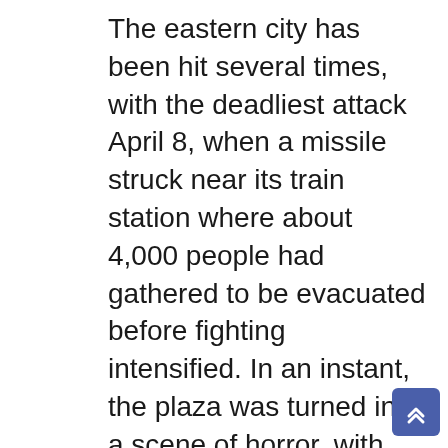The eastern city has been hit several times, with the deadliest attack April 8, when a missile struck near its train station where about 4,000 people had gathered to be evacuated before fighting intensified. In an instant, the plaza was turned into a scene of horror, with bodies lying on bloodstained pavement amid discarded luggage. A total of 57 people were killed, and more than 100 wounded.
Kramatorsk is one of the largest in the industrial Donbas region of eastern Ukraine that has not been taken over by Russian forces. The region has been the